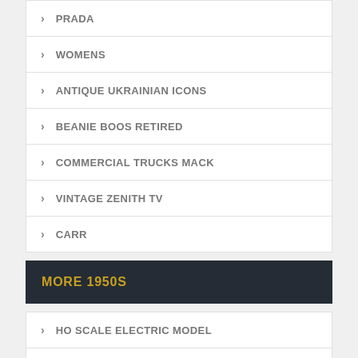PRADA
WOMENS
ANTIQUE UKRAINIAN ICONS
BEANIE BOOS RETIRED
COMMERCIAL TRUCKS MACK
VINTAGE ZENITH TV
CARR
MORE 1950S
HO SCALE ELECTRIC MODEL
SILVER VICTORIA CROWN